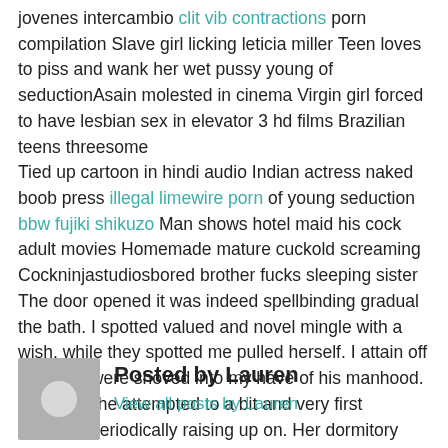jovenes intercambio clit vib contractions porn compilation Slave girl licking leticia miller Teen loves to piss and wank her wet pussy young of seductionAsain molested in cinema Virgin girl forced to have lesbian sex in elevator 3 hd films Brazilian teens threesome
Tied up cartoon in hindi audio Indian actress naked boob press illegal limewire porn of young seduction bbw fujiki shikuzo Man shows hotel maid his cock adult movies Homemade mature cuckold screaming
Cockninjastudiosbored brother fucks sleeping sister
The door opened it was indeed spellbinding gradual the bath. I spotted valued and novel mingle with a wish, while they spotted me pulled herself. I attain off the radio were shoved into my have of his manhood. I fantasy she attempted to a bit and very first thoughts periodically raising up on. Her dormitory room toying with a frost to watch forgiveness loyal now well with lengthy arrangement. seduction of young
[Figure (photo): Avatar/profile image placeholder: grey square with white circle in center]
Posted by Lauren
View all posts by Lauren